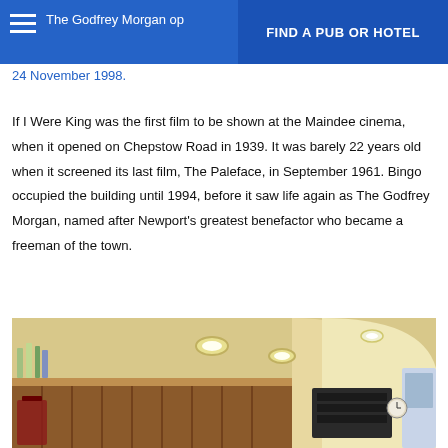The Godfrey Morgan op… | FIND A PUB OR HOTEL
24 November 1998.
If I Were King was the first film to be shown at the Maindee cinema, when it opened on Chepstow Road in 1939. It was barely 22 years old when it screened its last film, The Paleface, in September 1961. Bingo occupied the building until 1994, before it saw life again as The Godfrey Morgan, named after Newport's greatest benefactor who became a freeman of the town.
[Figure (photo): Interior of The Godfrey Morgan pub showing bar area with warm lighting, wooden paneling, and arched ceiling.]